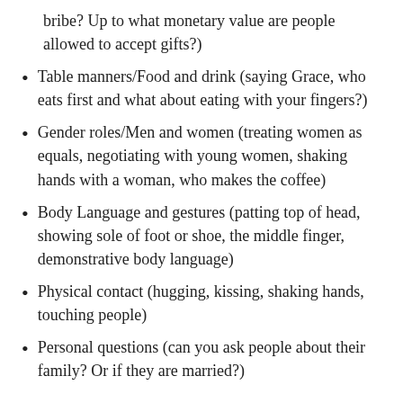bribe? Up to what monetary value are people allowed to accept gifts?)
Table manners/Food and drink (saying Grace, who eats first and what about eating with your fingers?)
Gender roles/Men and women (treating women as equals, negotiating with young women, shaking hands with a woman, who makes the coffee)
Body Language and gestures (patting top of head, showing sole of foot or shoe, the middle finger, demonstrative body language)
Physical contact (hugging, kissing, shaking hands, touching people)
Personal questions (can you ask people about their family? Or if they are married?)
This post is about timekeeping.
Punctuality is very important to Swedish people. If you